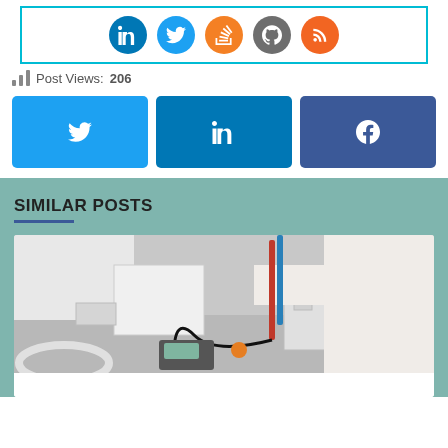[Figure (infographic): Social media icon circles bar: LinkedIn (blue), Twitter (light blue), StackOverflow (orange), GitHub (gray), RSS (orange) on white background with teal border]
Post Views: 206
[Figure (infographic): Three share buttons: Twitter (light blue), LinkedIn (dark blue), Facebook (navy blue)]
SIMILAR POSTS
[Figure (photo): Laboratory technician in white coat using a pH meter probe with a blue and red electrode, working near a microscope on a metal lab bench]
[Figure (photo): Partially visible white card below the lab photo]